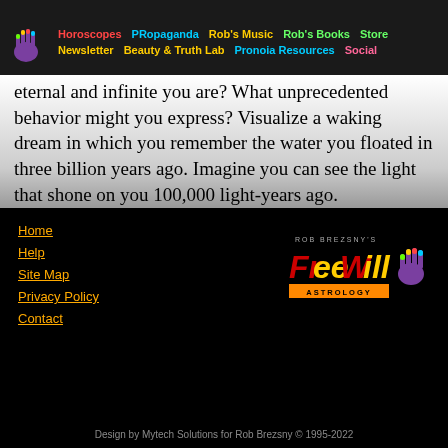Horoscopes  PRopaganda  Rob's Music  Rob's Books  Store  Newsletter  Beauty & Truth Lab  Pronoia Resources  Social
eternal and infinite you are? What unprecedented behavior might you express? Visualize a waking dream in which you remember the water you floated in three billion years ago. Imagine you can see the light that shone on you 100,000 light-years ago.
Home
Help
Site Map
Privacy Policy
Contact
[Figure (logo): Rob Brezsny's Free Will Astrology logo with colorful hand graphic]
Design by Mytech Solutions for Rob Brezsny © 1995-2022